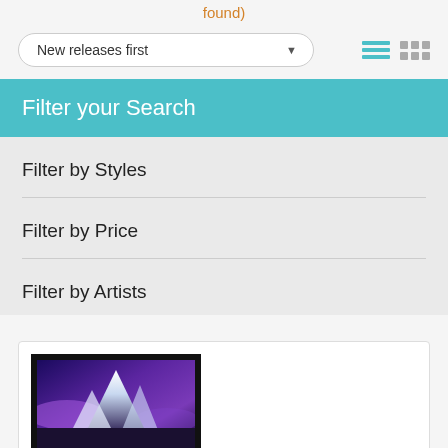found)
New releases first
Filter your Search
Filter by Styles
Filter by Price
Filter by Artists
[Figure (photo): Framed artwork showing a mountain landscape with purple and blue tones]